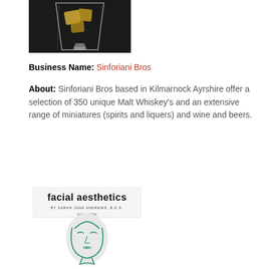[Figure (photo): A glass of whiskey with ice cubes on a dark background]
Business Name: Sinforiani Bros
About: Sinforiani Bros based in Kilmarnock Ayrshire offer a selection of 350 unique Malt Whiskey's and an extensive range of miniatures (spirits and liquers) and wine and beers.
[Figure (logo): Facial aesthetics by Sarah Jane Andrews B.D.S. logo with stylized face illustration. GDC: 209856]